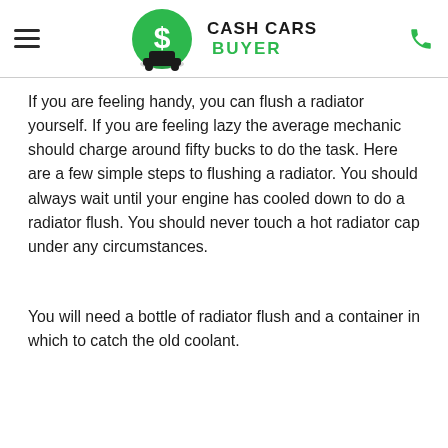Cash Cars Buyer
If you are feeling handy, you can flush a radiator yourself. If you are feeling lazy the average mechanic should charge around fifty bucks to do the task. Here are a few simple steps to flushing a radiator. You should always wait until your engine has cooled down to do a radiator flush. You should never touch a hot radiator cap under any circumstances.
You will need a bottle of radiator flush and a container in which to catch the old coolant.